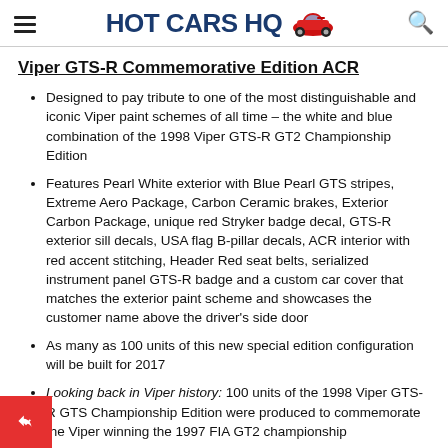HOT CARS HQ
Viper GTS-R Commemorative Edition ACR
Designed to pay tribute to one of the most distinguishable and iconic Viper paint schemes of all time – the white and blue combination of the 1998 Viper GTS-R GT2 Championship Edition
Features Pearl White exterior with Blue Pearl GTS stripes, Extreme Aero Package, Carbon Ceramic brakes, Exterior Carbon Package, unique red Stryker badge decal, GTS-R exterior sill decals, USA flag B-pillar decals, ACR interior with red accent stitching, Header Red seat belts, serialized instrument panel GTS-R badge and a custom car cover that matches the exterior paint scheme and showcases the customer name above the driver's side door
As many as 100 units of this new special edition configuration will be built for 2017
Looking back in Viper history: 100 units of the 1998 Viper GTS-R GTS Championship Edition were produced to commemorate the Viper winning the 1997 FIA GT2 championship